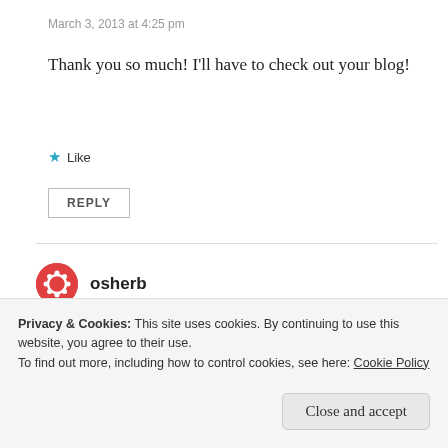March 3, 2013 at 4:25 pm
Thank you so much! I'll have to check out your blog!
★ Like
REPLY
osherb
March 2, 2013 at 10:27 pm
Privacy & Cookies: This site uses cookies. By continuing to use this website, you agree to their use. To find out more, including how to control cookies, see here: Cookie Policy
Close and accept